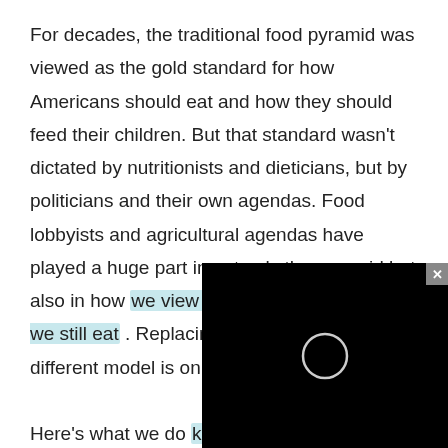For decades, the traditional food pyramid was viewed as the gold standard for how Americans should eat and how they should feed their children. But that standard wasn't dictated by nutritionists and dieticians, but by politicians and their own agendas. Food lobbyists and agricultural agendas have played a huge part in not only the pyramid but also in how we view certain foods and how we still eat. Replacing the pyramid with a different model is only scra[tching the surface].

Here's what we do know.
[Figure (screenshot): Black video player overlay with a loading spinner circle in the center, and a close (x) button in the top-right corner.]